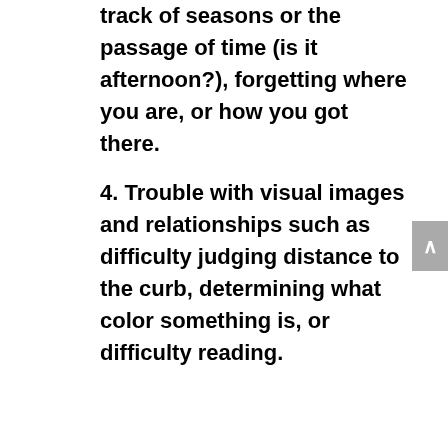track of seasons or the passage of time (is it afternoon?), forgetting where you are, or how you got there.
4. Trouble with visual images and relationships such as difficulty judging distance to the curb, determining what color something is, or difficulty reading.